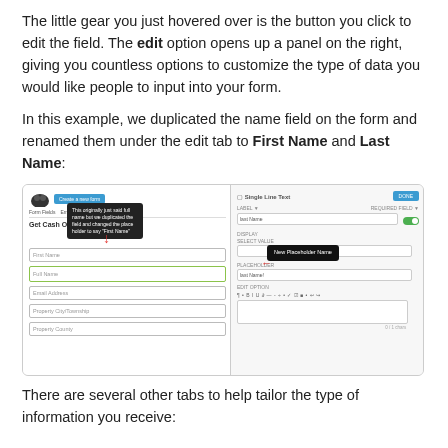The little gear you just hovered over is the button you click to edit the field. The edit option opens up a panel on the right, giving you countless options to customize the type of data you would like people to input into your form.
In this example, we duplicated the name field on the form and renamed them under the edit tab to First Name and Last Name:
[Figure (screenshot): Screenshot of a form builder interface showing a form with First Name and Last Name fields on the left, and a Single Line Text edit panel on the right. A dark tooltip explains the field was originally 'full name' but duplicated and changed to 'First Name'. A red arrow and 'New Placeholder Name' tooltip are visible pointing to a 'last name' placeholder input field.]
There are several other tabs to help tailor the type of information you receive: